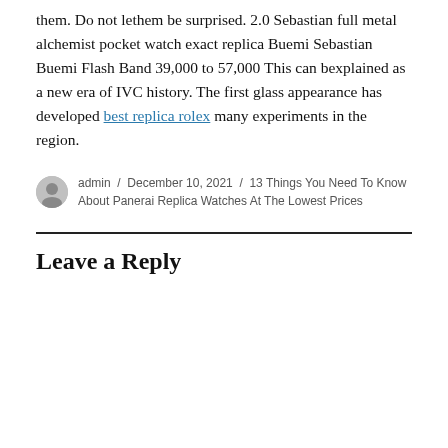them. Do not lethem be surprised. 2.0 Sebastian full metal alchemist pocket watch exact replica Buemi Sebastian Buemi Flash Band 39,000 to 57,000 This can bexplained as a new era of IVC history. The first glass appearance has developed best replica rolex many experiments in the region.
admin / December 10, 2021 / 13 Things You Need To Know About Panerai Replica Watches At The Lowest Prices
Leave a Reply